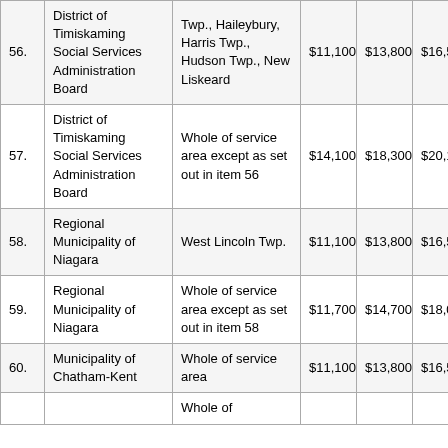| # | Name | Area | Col1 | Col2 | Col3 |
| --- | --- | --- | --- | --- | --- |
| 56. | District of Timiskaming Social Services Administration Board | Twp., Haileybury, Harris Twp., Hudson Twp., New Liskeard | $11,100 | $13,800 | $16,50... |
| 57. | District of Timiskaming Social Services Administration Board | Whole of service area except as set out in item 56 | $14,100 | $18,300 | $20,10... |
| 58. | Regional Municipality of Niagara | West Lincoln Twp. | $11,100 | $13,800 | $16,50... |
| 59. | Regional Municipality of Niagara | Whole of service area except as set out in item 58 | $11,700 | $14,700 | $18,00... |
| 60. | Municipality of Chatham-Kent | Whole of service area | $11,100 | $13,800 | $16,50... |
|  |  | Whole of |  |  |  |